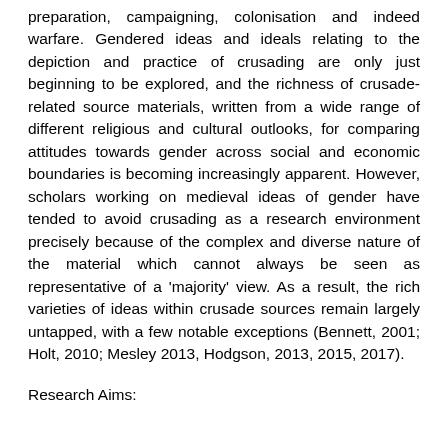preparation, campaigning, colonisation and indeed warfare. Gendered ideas and ideals relating to the depiction and practice of crusading are only just beginning to be explored, and the richness of crusade-related source materials, written from a wide range of different religious and cultural outlooks, for comparing attitudes towards gender across social and economic boundaries is becoming increasingly apparent. However, scholars working on medieval ideas of gender have tended to avoid crusading as a research environment precisely because of the complex and diverse nature of the material which cannot always be seen as representative of a 'majority' view. As a result, the rich varieties of ideas within crusade sources remain largely untapped, with a few notable exceptions (Bennett, 2001; Holt, 2010; Mesley 2013, Hodgson, 2013, 2015, 2017).
Research Aims: